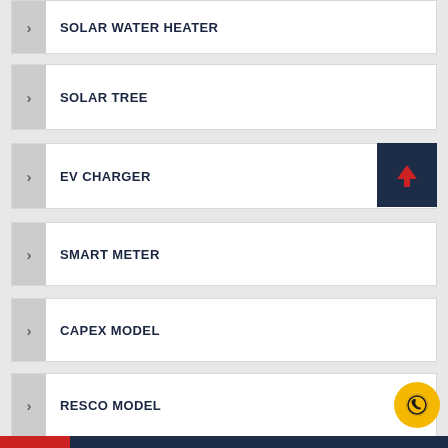SOLAR WATER HEATER
SOLAR TREE
EV CHARGER
SMART METER
CAPEX MODEL
RESCO MODEL
SOLAR FOR RESIDENTIAL